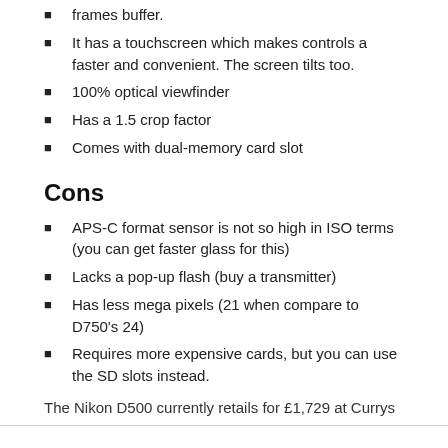frames buffer.
It has a touchscreen which makes controls a faster and convenient. The screen tilts too.
100% optical viewfinder
Has a 1.5 crop factor
Comes with dual-memory card slot
Cons
APS-C format sensor is not so high in ISO terms (you can get faster glass for this)
Lacks a pop-up flash (buy a transmitter)
Has less mega pixels (21 when compare to D750's 24)
Requires more expensive cards, but you can use the SD slots instead.
The Nikon D500 currently retails for £1,729 at Currys